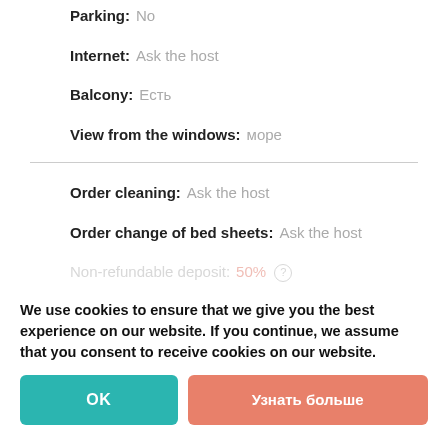Parking: No
Internet: Ask the host
Balcony: Есть
View from the windows: море
Order cleaning: Ask the host
Order change of bed sheets: Ask the host
Non-refundable deposit: 50%
Final cleaning fee: Не требуется
We use cookies to ensure that we give you the best experience on our website. If you continue, we assume that you consent to receive cookies on our website.
OK
Узнать больше